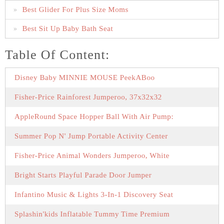» Best Glider For Plus Size Moms
» Best Sit Up Baby Bath Seat
Table Of Content:
Disney Baby MINNIE MOUSE PeekABoo
Fisher-Price Rainforest Jumperoo, 37x32x32
AppleRound Space Hopper Ball With Air Pump:
Summer Pop N' Jump Portable Activity Center
Fisher-Price Animal Wonders Jumperoo, White
Bright Starts Playful Parade Door Jumper
Infantino Music & Lights 3-In-1 Discovery Seat
Splashin'kids Inflatable Tummy Time Premium
F Is For FART: A Rhyming ABC Children's Book
Video Baby Monitor With Digital Camera,